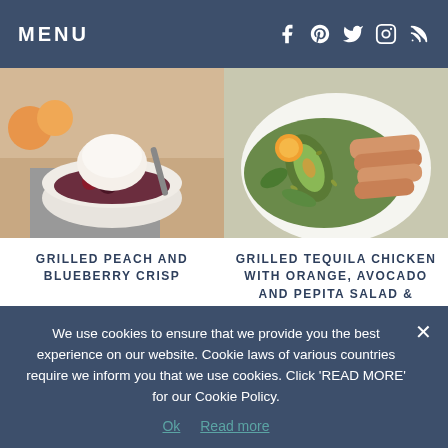MENU
[Figure (photo): Grilled peach and blueberry crisp dessert in a white bowl with a scoop of vanilla ice cream on top, spoon visible, peaches in background]
[Figure (photo): Grilled tequila chicken salad with orange slices, avocado, and pepita on a white plate with green arugula]
GRILLED PEACH AND BLUEBERRY CRISP
GRILLED TEQUILA CHICKEN WITH ORANGE, AVOCADO AND PEPITA SALAD & GIVEAWAY
We use cookies to ensure that we provide you the best experience on our website. Cookie laws of various countries require we inform you that we use cookies. Click 'READ MORE' for our Cookie Policy.
Ok  Read more